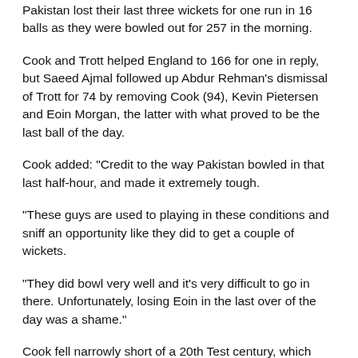Pakistan lost their last three wickets for one run in 16 balls as they were bowled out for 257 in the morning.
Cook and Trott helped England to 166 for one in reply, but Saeed Ajmal followed up Abdur Rehman's dismissal of Trott for 74 by removing Cook (94), Kevin Pietersen and Eoin Morgan, the latter with what proved to be the last ball of the day.
Cook added: "Credit to the way Pakistan bowled in that last half-hour, and made it extremely tough.
"These guys are used to playing in these conditions and sniff an opportunity like they did to get a couple of wickets.
"They did bowl very well and it's very difficult to go in there. Unfortunately, losing Eoin in the last over of the day was a shame."
Cook fell narrowly short of a 20th Test century, which would have put him joint fourth on England's all-time list